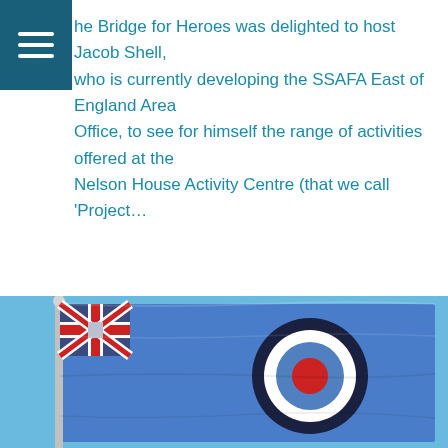The Bridge for Heroes was delighted to host Jacob Shell, who is currently developing the SSAFA East of England Area Office, to see for himself the range of activities offered at the Nelson House Activity Centre (that we call 'Project…
Read more...
Battle of Britain Flag Raising Ceremony
[Figure (photo): RAF ensign flag (blue with Union Jack in top-left corner and RAF roundel circle on right side) flying against a blue sky, mounted on a silver flagpole]